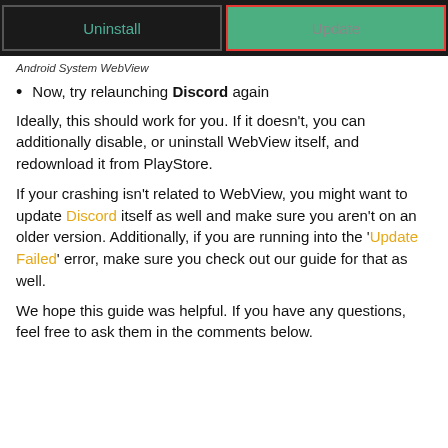[Figure (screenshot): Screenshot of Android app page showing 'Uninstall' and 'Update' buttons on dark background]
Android System WebView
Now, try relaunching Discord again
Ideally, this should work for you. If it doesn't, you can additionally disable, or uninstall WebView itself, and redownload it from PlayStore.
If your crashing isn't related to WebView, you might want to update Discord itself as well and make sure you aren't on an older version. Additionally, if you are running into the 'Update Failed' error, make sure you check out our guide for that as well.
We hope this guide was helpful. If you have any questions, feel free to ask them in the comments below.